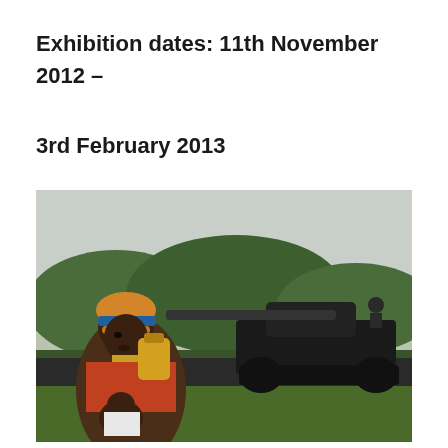Exhibition dates: 11th November 2012 – 3rd February 2013
[Figure (photo): A woman carrying a yellow jerrycan and a child sits in the foreground wearing a head wrap and colorful scarf, with a military tank on a road behind her amidst green hilly landscape.]